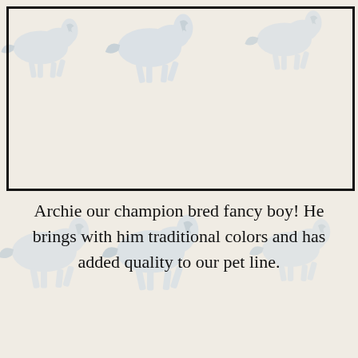[Figure (illustration): Repeating pattern of pale silver/white horse silhouettes trotting, used as background across the full page. A framed rectangle in the upper portion encloses the top set of horses.]
Archie our champion bred fancy boy! He brings with him traditional colors and has added quality to our pet line.